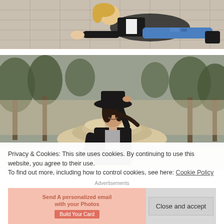[Figure (photo): Young woman with blonde hair sitting on a tiled plaza ground, wearing a black jacket, white shirt, ripped jeans, and black ankle boots.]
[Figure (photo): Woman in a black hat and black jacket laughing and tilting her hat, standing in front of a large stone fountain in a park with trees in the background.]
Privacy & Cookies: This site uses cookies. By continuing to use this website, you agree to their use.
To find out more, including how to control cookies, see here: Cookie Policy
Advertisements
[Figure (other): Advertisement banner with pink/salmon background showing promotional text and a button.]
Close and accept